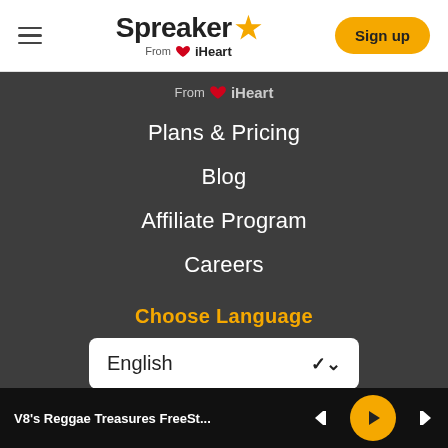Spreaker ★ From iHeart — Sign up
From iHeart
Plans & Pricing
Blog
Affiliate Program
Careers
Choose Language
English
V8's Reggae Treasures FreeSt...